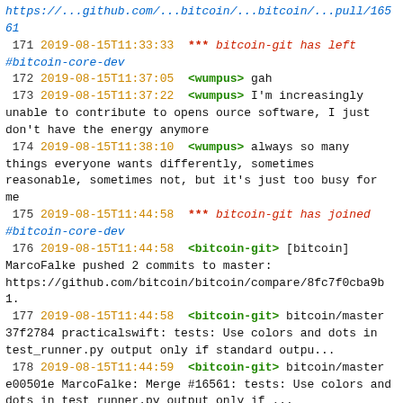https://...github.com/...bitcoin/...bitcoin/...pull/...16561 (partial)
171 2019-08-15T11:33:33  *** bitcoin-git has left #bitcoin-core-dev
172 2019-08-15T11:37:05  <wumpus> gah
173 2019-08-15T11:37:22  <wumpus> I'm increasingly unable to contribute to opens ource software, I just don't have the energy anymore
174 2019-08-15T11:38:10  <wumpus> always so many things everyone wants differently, sometimes reasonable, sometimes not, but it's just too busy for me
175 2019-08-15T11:44:58  *** bitcoin-git has joined #bitcoin-core-dev
176 2019-08-15T11:44:58  <bitcoin-git> [bitcoin] MarcoFalke pushed 2 commits to master: https://github.com/bitcoin/bitcoin/compare/8fc7f0cba9b1.
177 2019-08-15T11:44:58  <bitcoin-git> bitcoin/master 37f2784 practicalswift: tests: Use colors and dots in test_runner.py output only if standard outpu...
178 2019-08-15T11:44:59  <bitcoin-git> bitcoin/master e00501e MarcoFalke: Merge #16561: tests: Use colors and dots in test_runner.py output only if ...
179 2019-08-15T11:45:00  *** bitcoin-git has left #bitcoin-core-dev
180 2019-08-15T11:45:13  *** justanotheruser has quit IRC
181 2019-08-15T11:46:03  *** bitcoin-git has joined #bitcoin-core-dev
182 2019-08-15T11:46:03  *** bitcoin-git [bitcoin-... (partial)